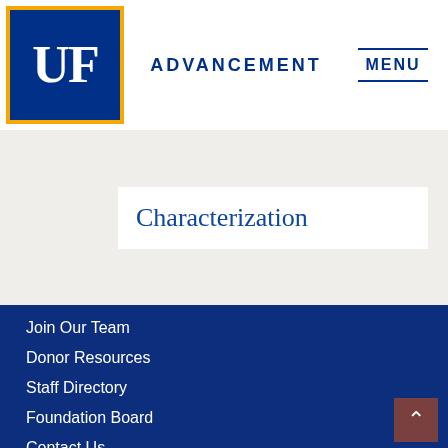[Figure (logo): University of Florida UF logo — dark blue square with gold border, white UF letters]
ADVANCEMENT
MENU
Characterization
Join Our Team
Donor Resources
Staff Directory
Foundation Board
Contact Us
Advancement HUB 🔒